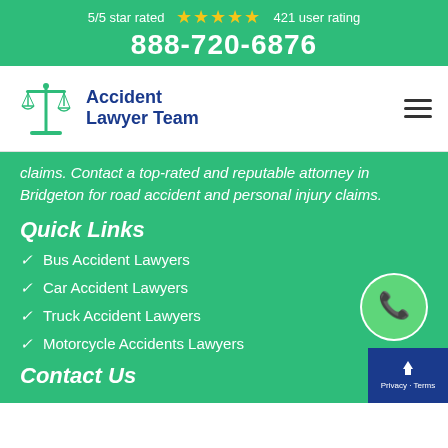5/5 star rated ★★★★★ 421 user rating
888-720-6876
[Figure (logo): Accident Lawyer Team logo with scales of justice icon and dark blue text]
claims. Contact a top-rated and reputable attorney in Bridgeton for road accident and personal injury claims.
Quick Links
Bus Accident Lawyers
Car Accident Lawyers
Truck Accident Lawyers
Motorcycle Accidents Lawyers
Contact Us